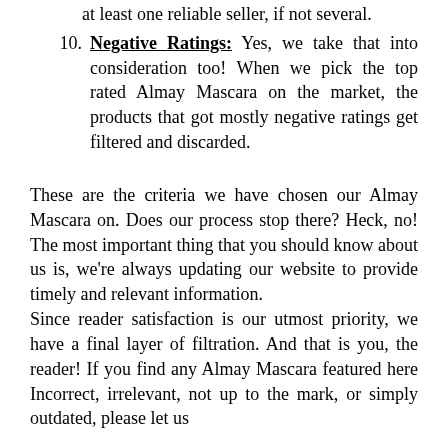10. Negative Ratings: Yes, we take that into consideration too! When we pick the top rated Almay Mascara on the market, the products that got mostly negative ratings get filtered and discarded.
These are the criteria we have chosen our Almay Mascara on. Does our process stop there? Heck, no! The most important thing that you should know about us is, we're always updating our website to provide timely and relevant information.
Since reader satisfaction is our utmost priority, we have a final layer of filtration. And that is you, the reader! If you find any Almay Mascara featured here Incorrect, irrelevant, not up to the mark, or simply outdated, please let us